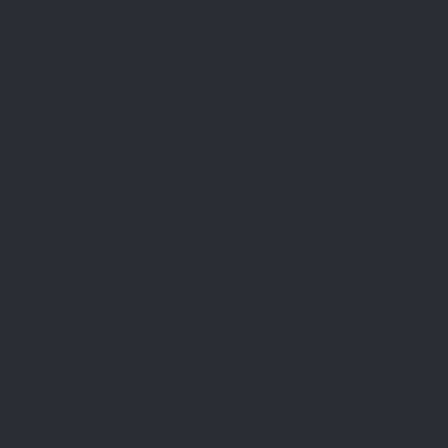[Figure (other): Dark background page with near-black navy/charcoal color (#2b2d35), almost entirely uniform with very faint, barely visible texture or ghosted content that is not legible.]